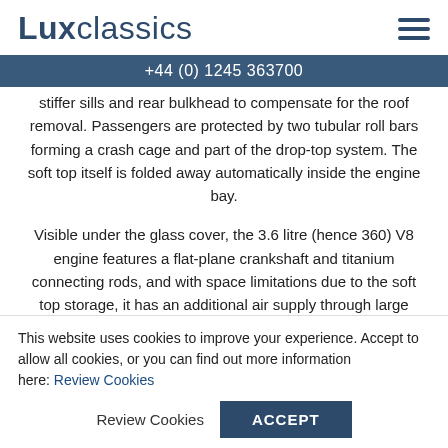Luxclassics
+44 (0) 1245 363700
stiffer sills and rear bulkhead to compensate for the roof removal. Passengers are protected by two tubular roll bars forming a crash cage and part of the drop-top system. The soft top itself is folded away automatically inside the engine bay.
Visible under the glass cover, the 3.6 litre (hence 360) V8 engine features a flat-plane crankshaft and titanium connecting rods, and with space limitations due to the soft top storage, it has an additional air supply through large side air intakes. It develops 400 PS (294 kW; 395 hp) and is capable of propelling the 360 Spider to 60 mph in a mere 4.2
This website uses cookies to improve your experience. Accept to allow all cookies, or you can find out more information here: Review Cookies
ACCEPT